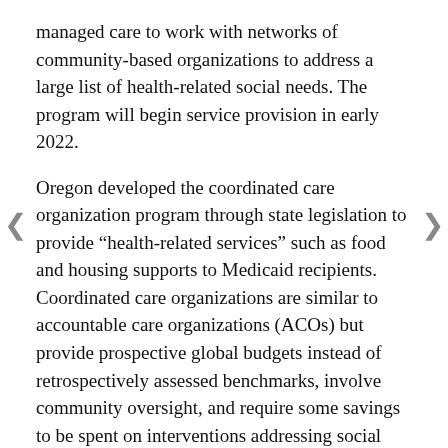managed care to work with networks of community-based organizations to address a large list of health-related social needs. The program will begin service provision in early 2022.
Oregon developed the coordinated care organization program through state legislation to provide “health-related services” such as food and housing supports to Medicaid recipients. Coordinated care organizations are similar to accountable care organizations (ACOs) but provide prospective global budgets instead of retrospectively assessed benchmarks, involve community oversight, and require some savings to be spent on interventions addressing social determinants of health and equity.
New York announced in August 2021 its intent to submit a Section 1115 waiver requesting $17 billion to pay for